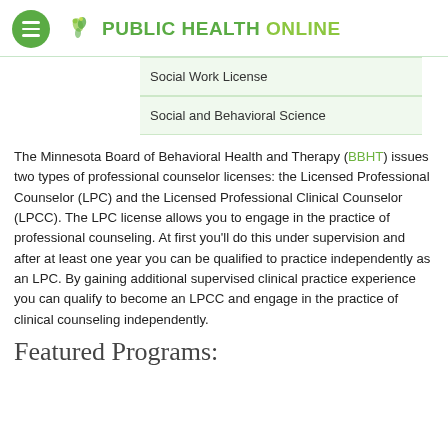PUBLIC HEALTH ONLINE
Social Work License
Social and Behavioral Science
The Minnesota Board of Behavioral Health and Therapy (BBHT) issues two types of professional counselor licenses: the Licensed Professional Counselor (LPC) and the Licensed Professional Clinical Counselor (LPCC). The LPC license allows you to engage in the practice of professional counseling. At first you'll do this under supervision and after at least one year you can be qualified to practice independently as an LPC. By gaining additional supervised clinical practice experience you can qualify to become an LPCC and engage in the practice of clinical counseling independently.
Featured Programs: